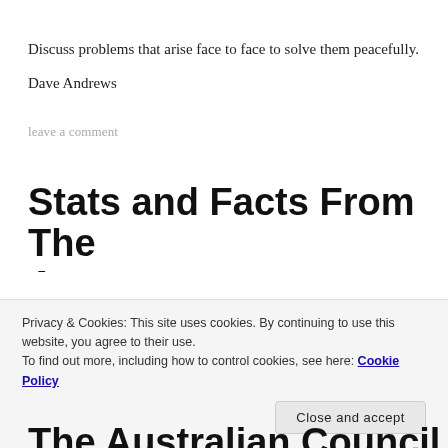Discuss problems that arise face to face to solve them peacefully.
Dave Andrews
leave a comment
Stats and Facts From The Australian Council of Social Service
Privacy & Cookies: This site uses cookies. By continuing to use this website, you agree to their use. To find out more, including how to control cookies, see here: Cookie Policy
The Australian Council of Social Service is the peak